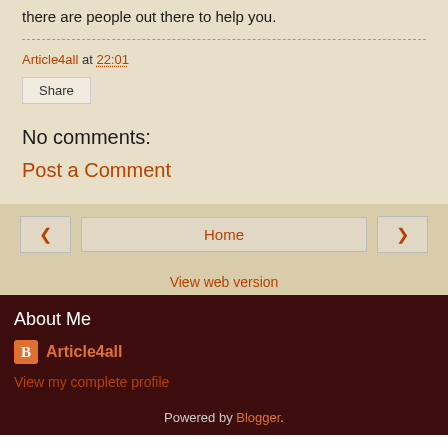there are people out there to help you.
Article4all at 22:01
Share
No comments:
Post a Comment
Home
View web version
About Me
Article4all
View my complete profile
Powered by Blogger.